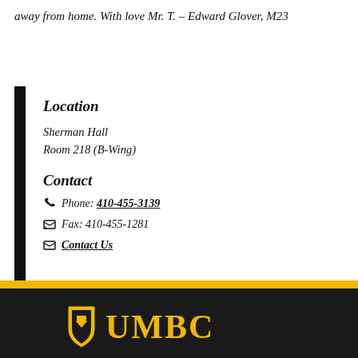away from home. With love Mr. T. – Edward Glover, M23
Location
Sherman Hall
Room 218 (B-Wing)
Contact
Phone: 410-455-3139
Fax: 410-455-1281
Contact Us
[Figure (logo): UMBC university logo in gold on black footer background]